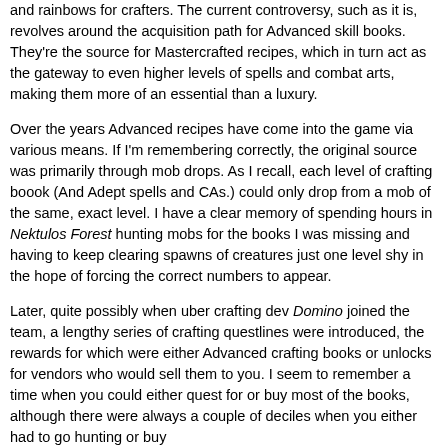and rainbows for crafters. The current controversy, such as it is, revolves around the acquisition path for Advanced skill books. They're the source for Mastercrafted recipes, which in turn act as the gateway to even higher levels of spells and combat arts, making them more of an essential than a luxury.
Over the years Advanced recipes have come into the game via various means. If I'm remembering correctly, the original source was primarily through mob drops. As I recall, each level of crafting boook (And Adept spells and CAs.) could only drop from a mob of the same, exact level. I have a clear memory of spending hours in Nektulos Forest hunting mobs for the books I was missing and having to keep clearing spawns of creatures just one level shy in the hope of forcing the correct numbers to appear.
Later, quite possibly when uber crafting dev Domino joined the team, a lengthy series of crafting questlines were introduced, the rewards for which were either Advanced crafting books or unlocks for vendors who would sell them to you. I seem to remember a time when you could either quest for or buy most of the books, although there were always a couple of deciles when you either had to go hunting or buy